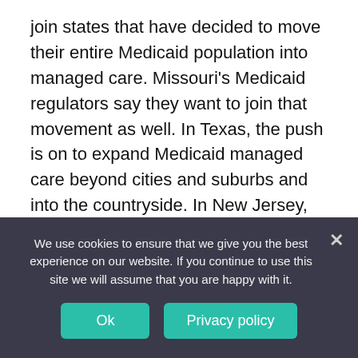join states that have decided to move their entire Medicaid population into managed care. Missouri's Medicaid regulators say they want to join that movement as well. In Texas, the push is on to expand Medicaid managed care beyond cities and suburbs and into the countryside. In New Jersey, state officials are putting long-term care services into managed care.
“The trend is toward putting new people, new geographies [pushing from urban into
We use cookies to ensure that we give you the best experience on our website. If you continue to use this site we will assume that you are happy with it.